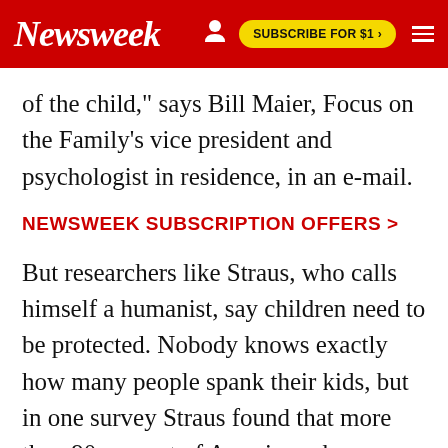Newsweek  SUBSCRIBE FOR $1 >
of the child," says Bill Maier, Focus on the Family's vice president and psychologist in residence, in an e-mail.
NEWSWEEK SUBSCRIPTION OFFERS >
But researchers like Straus, who calls himself a humanist, say children need to be protected. Nobody knows exactly how many people spank their kids, but in one survey Straus found that more than 90 percent of Americans have spanked their toddlers, and while not all